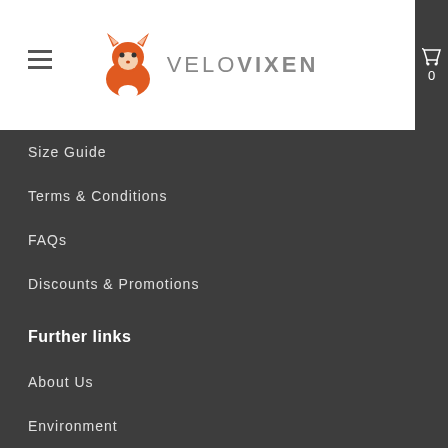[Figure (logo): VeloVixen logo with orange fox icon and text VELOVIXEN]
Size Guide
Terms & Conditions
FAQs
Discounts & Promotions
Further links
About Us
Environment
VeloVixen Exclusives
Our Journey
Our Team
Our Reviews